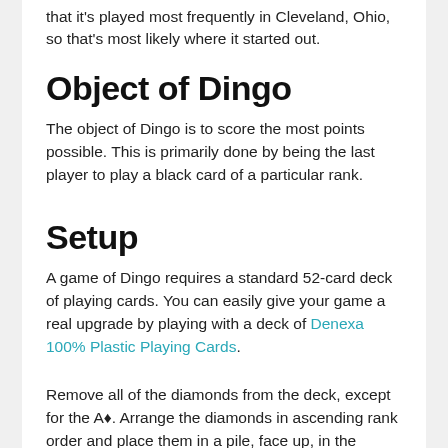that it's played most frequently in Cleveland, Ohio, so that's most likely where it started out.
Object of Dingo
The object of Dingo is to score the most points possible. This is primarily done by being the last player to play a black card of a particular rank.
Setup
A game of Dingo requires a standard 52-card deck of playing cards. You can easily give your game a real upgrade by playing with a deck of Denexa 100% Plastic Playing Cards.
Remove all of the diamonds from the deck, except for the A♦. Arrange the diamonds in ascending rank order and place them in a pile, face up, in the middle of the table, with the 2♦ showing. These diamonds are called rabbits. Shuffle the remaining 40 cards and deal them out evenly. Each player will